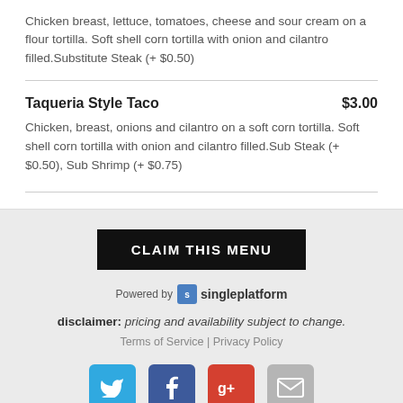Chicken breast, lettuce, tomatoes, cheese and sour cream on a flour tortilla. Soft shell corn tortilla with onion and cilantro filled.Substitute Steak (+ $0.50)
Taqueria Style Taco   $3.00
Chicken, breast, onions and cilantro on a soft corn tortilla. Soft shell corn tortilla with onion and cilantro filled.Sub Steak (+ $0.50), Sub Shrimp (+ $0.75)
CLAIM THIS MENU
Powered by singleplatform
disclaimer: pricing and availability subject to change.
Terms of Service | Privacy Policy
[Figure (other): Social media share buttons: Twitter (blue bird), Facebook (blue f), Google+ (red g+), Email (gray envelope)]